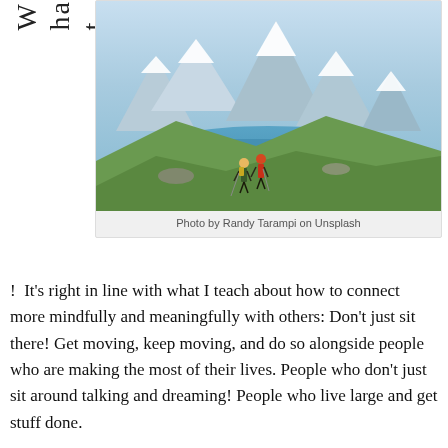What great advice
[Figure (photo): Two hikers with trekking poles walking up a grassy ridge with snow-capped mountains and a blue fjord in the background]
Photo by Randy Tarampi on Unsplash
!  It's right in line with what I teach about how to connect more mindfully and meaningfully with others: Don't just sit there! Get moving, keep moving, and do so alongside people who are making the most of their lives. People who don't just sit around talking and dreaming! People who live large and get stuff done.